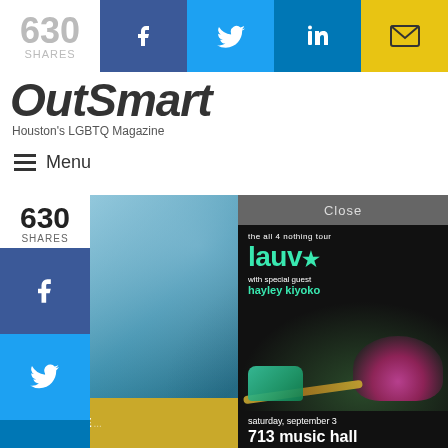630 SHARES — social share bar with Facebook, Twitter, LinkedIn, Email buttons
OutSmart — Houston's LGBTQ Magazine
≡ Menu
[Figure (photo): Left side share column with 630 SHARES count and Facebook, Twitter, LinkedIn social buttons]
[Figure (photo): Main photo of person in blue clothing against light background]
[Figure (advertisement): Popup ad for Lauv 'The All 4 Nothing Tour' with special guest Hayley Kiyoko, Saturday September 3 at 713 Music Hall. Live Nation — get tickets thursday. Shows artist lying on grass with guitar.]
[Figure (photo): Bottom banner showing partial text MOODY CE... on gold/yellow background]